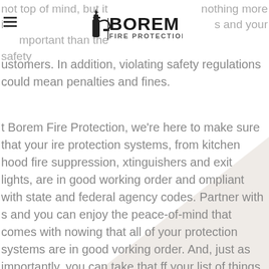Borem Fire Protection
not top of mind, but it i... nothing more important than the safety ... s and your customers. In addition, violating safety regulations could mean penalties and fines.
At Borem Fire Protection, we're here to make sure that your fire protection systems, from kitchen hood fire suppression, extinguishers and exit lights, are in good working order and compliant with state and federal agency codes. Partner with us and you can enjoy the peace-of-mind that comes with knowing that all of your protection systems are in good working order.  And, just as importantly, you can take that off your list of things to worry about and focus on more important things... like running your business.